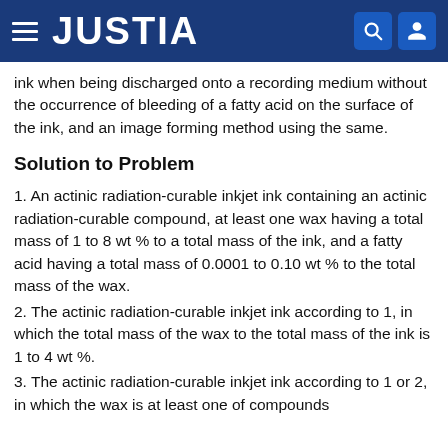JUSTIA
ink when being discharged onto a recording medium without the occurrence of bleeding of a fatty acid on the surface of the ink, and an image forming method using the same.
Solution to Problem
1. An actinic radiation-curable inkjet ink containing an actinic radiation-curable compound, at least one wax having a total mass of 1 to 8 wt % to a total mass of the ink, and a fatty acid having a total mass of 0.0001 to 0.10 wt % to the total mass of the wax.
2. The actinic radiation-curable inkjet ink according to 1, in which the total mass of the wax to the total mass of the ink is 1 to 4 wt %.
3. The actinic radiation-curable inkjet ink according to 1 or 2, in which the wax is at least one of compounds